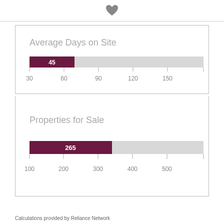[Figure (bar-chart): Average Days on Site]
[Figure (bar-chart): Properties for Sale]
Calculations provided by Reliance Network